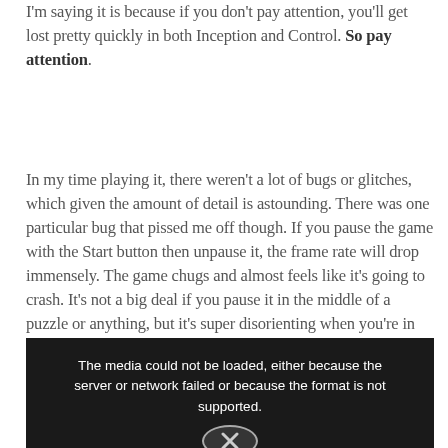I'm saying it is because if you don't pay attention, you'll get lost pretty quickly in both Inception and Control. So pay attention.
In my time playing it, there weren't a lot of bugs or glitches, which given the amount of detail is astounding. There was one particular bug that pissed me off though. If you pause the game with the Start button then unpause it, the frame rate will drop immensely. The game chugs and almost feels like it's going to crash. It's not a big deal if you pause it in the middle of a puzzle or anything, but it's super disorienting when you're in the middle of a huge gunfight and your game is chugging.
[Figure (screenshot): Dark video player showing error message: 'The media could not be loaded, either because the server or network failed or because the format is not supported.' with an X icon circle below.]